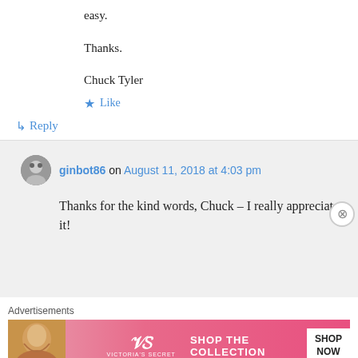easy.
Thanks.
Chuck Tyler
★ Like
↳ Reply
ginbot86 on August 11, 2018 at 4:03 pm
Thanks for the kind words, Chuck – I really appreciate it!
Advertisements
[Figure (photo): Victoria's Secret advertisement banner showing a woman, VS logo, 'SHOP THE COLLECTION' text and 'SHOP NOW' button]